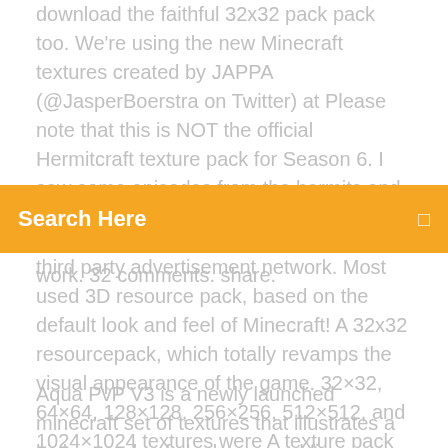download the faithful 32x32 pack pack too. We're using the new Minecraft textures created by JAPPA (@JasperBoerstra on Twitter) at Please note that this is NOT the official Hermitcraft texture pack for Season 6. I saw some episodes from the hermits and updated my own world to Aquatic and I want the "new" look and feel but it won't work. 32 comments. share.
Search Here
third party advertisement network. Most used 3D resource pack, based on the default look and feel of Minecraft! A 32x32 resourcepack, which totally revamps the visual appearance of the game. 32×32, 64×64, 128×128, 256×256, 512×512, and 1024×1024 textures were A texture pack is identified by Minecraft based on the presence of the folder of the
Aqua PvP V3 is a newly launched minecraft set of textures that illustrates a higher grade of sleekness and finesse. The textures has been designed Huahwi InFinite 16x Edit - Minecraft